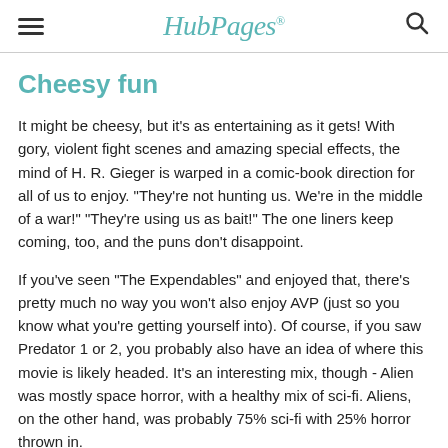HubPages
Cheesy fun
It might be cheesy, but it's as entertaining as it gets! With gory, violent fight scenes and amazing special effects, the mind of H. R. Gieger is warped in a comic-book direction for all of us to enjoy. "They're not hunting us. We're in the middle of a war!" "They're using us as bait!" The one liners keep coming, too, and the puns don't disappoint.
If you've seen "The Expendables" and enjoyed that, there's pretty much no way you won't also enjoy AVP (just so you know what you're getting yourself into). Of course, if you saw Predator 1 or 2, you probably also have an idea of where this movie is likely headed. It's an interesting mix, though - Alien was mostly space horror, with a healthy mix of sci-fi. Aliens, on the other hand, was probably 75% sci-fi with 25% horror thrown in.